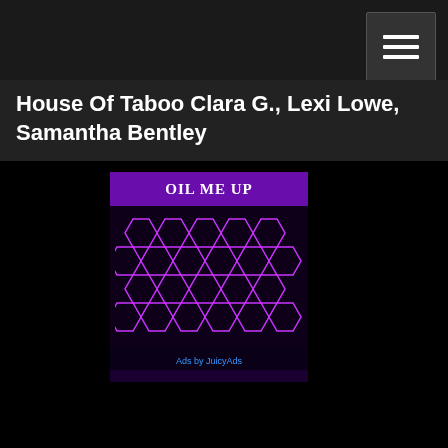House Of Taboo Clara G., Lexi Lowe, Samantha Bentley
[Figure (illustration): An advertisement banner with purple background showing text 'OIL ME UP' at the top and a honeycomb hexagonal pattern below, with 'Ads by JuicyAds' at the bottom in blue text.]